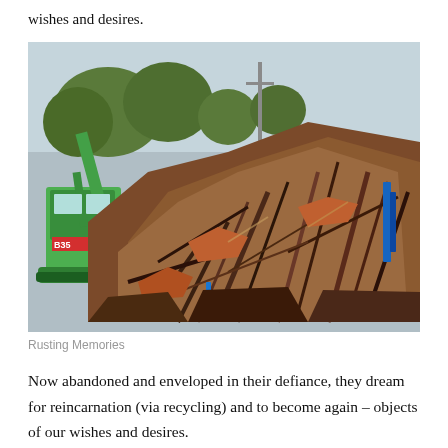wishes and desires.
[Figure (photo): A large pile of scrap metal and debris with a green crane/excavator machine (labeled B35) on the left side, trees visible in the background against an overcast sky.]
Rusting Memories
Now abandoned and enveloped in their defiance, they dream for reincarnation (via recycling) and to become again – objects of our wishes and desires.